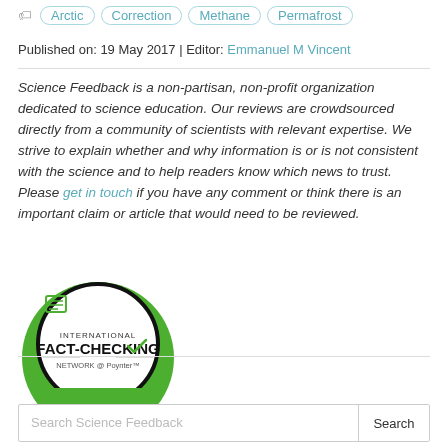Arctic  Correction  Methane  Permafrost
Published on: 19 May 2017 | Editor: Emmanuel M Vincent
Science Feedback is a non-partisan, non-profit organization dedicated to science education. Our reviews are crowdsourced directly from a community of scientists with relevant expertise. We strive to explain whether and why information is or is not consistent with the science and to help readers know which news to trust.
Please get in touch if you have any comment or think there is an important claim or article that would need to be reviewed.
[Figure (logo): International Fact-Checking Network @ Poynter Signatory badge — circular green and white logo with black ring]
Search Science Feedback